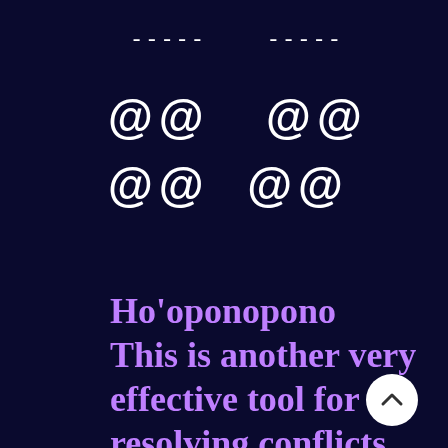----- -----
@@ @@ @@
@@ @@
Ho'oponopono
This is another very effective tool for resolving conflicts in relationships ~